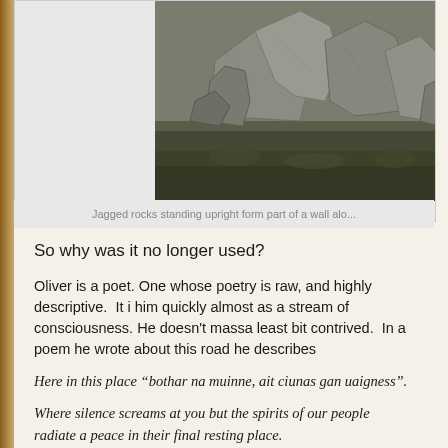[Figure (photo): Jagged rocks standing upright forming part of a wall along a road, with grass and overcast sky in the background.]
Jagged rocks standing upright form part of a wall alo...
So why was it no longer used?
Oliver is a poet. One whose poetry is raw, and highly descriptive.  It i him quickly almost as a stream of consciousness. He doesn't massa least bit contrived.  In a poem he wrote about this road he describes
Here in this place “bothar na muinne, ait ciunas gan uaigness”.
Where silence screams at you but the spirits of our people radiate a peace in their final resting place.
You tread on their footsteps and on their tombstones as you weave y vertical stone walls in this land of myth and magic.